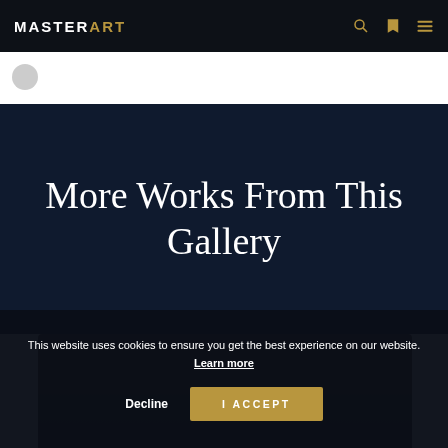MASTERART
More Works From This Gallery
This website uses cookies to ensure you get the best experience on our website. Learn more
Decline | I ACCEPT